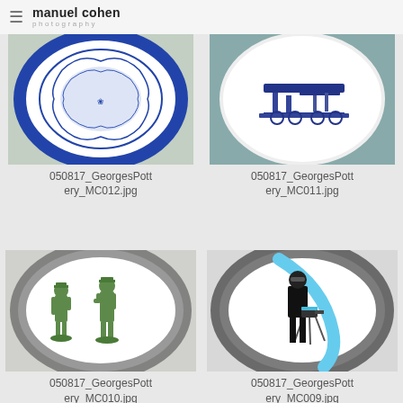manuel cohen photography
[Figure (photo): Close-up of a decorative blue and white pottery plate with ornate floral and figurative designs]
050817_GeorgesPottery_MC012.jpg
[Figure (photo): Close-up of a decorative blue and white pottery plate depicting machinery or industrial scene]
050817_GeorgesPottery_MC011.jpg
[Figure (photo): White pottery plate with green painted figurines of two military officers standing facing each other]
050817_GeorgesPottery_MC010.jpg
[Figure (photo): White pottery plate with black and cyan painted figure of a man operating a camera on a tripod]
050817_GeorgesPottery_MC009.jpg